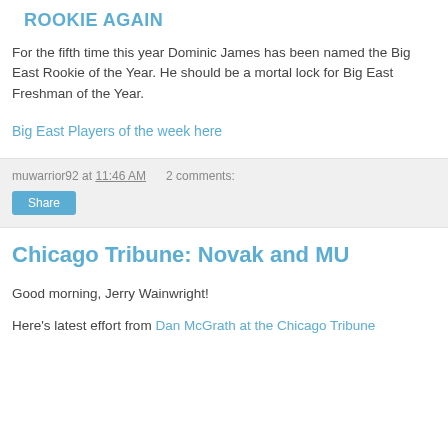ROOKIE AGAIN
For the fifth time this year Dominic James has been named the Big East Rookie of the Year. He should be a mortal lock for Big East Freshman of the Year.
Big East Players of the week here
muwarrior92 at 11:46 AM   2 comments:
Share
Chicago Tribune: Novak and MU
Good morning, Jerry Wainwright!
Here's latest effort from Dan McGrath at the Chicago Tribune